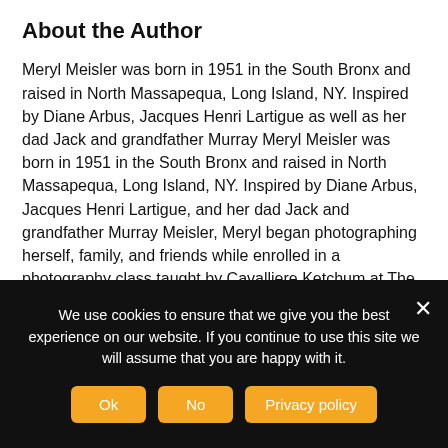About the Author
Meryl Meisler was born in 1951 in the South Bronx and raised in North Massapequa, Long Island, NY. Inspired by Diane Arbus, Jacques Henri Lartigue as well as her dad Jack and grandfather Murray Meryl Meisler was born in 1951 in the South Bronx and raised in North Massapequa, Long Island, NY. Inspired by Diane Arbus, Jacques Henri Lartigue, and her dad Jack and grandfather Murray Meisler, Meryl began photographing herself, family, and friends while enrolled in a photography class taught by Cavalliere Ketchum at The University of Wisconsin, Madison. In 1975, Meryl returned to New York City and studied with Lisette Model, photographing her hometown and the city around her. After working as a freelance illustrator by day, Meryl frequented and photographed the
We use cookies to ensure that we give you the best experience on our website. If you continue to use this site we will assume that you are happy with it.
Ok | No | Privacy policy